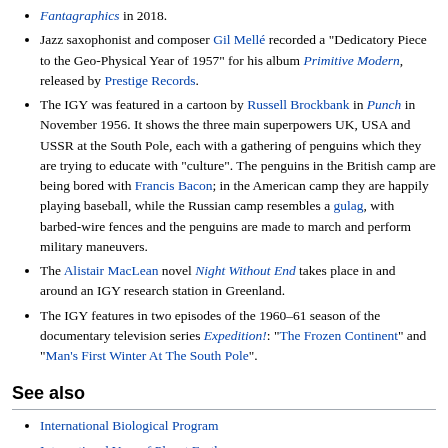Fantagraphics in 2018.
Jazz saxophonist and composer Gil Mellé recorded a "Dedicatory Piece to the Geo-Physical Year of 1957" for his album Primitive Modern, released by Prestige Records.
The IGY was featured in a cartoon by Russell Brockbank in Punch in November 1956. It shows the three main superpowers UK, USA and USSR at the South Pole, each with a gathering of penguins which they are trying to educate with "culture". The penguins in the British camp are being bored with Francis Bacon; in the American camp they are happily playing baseball, while the Russian camp resembles a gulag, with barbed-wire fences and the penguins are made to march and perform military maneuvers.
The Alistair MacLean novel Night Without End takes place in and around an IGY research station in Greenland.
The IGY features in two episodes of the 1960–61 season of the documentary television series Expedition!: "The Frozen Continent" and "Man's First Winter At The South Pole".
See also
International Biological Program
International Year of Planet Earth
List of Antarctic expeditions